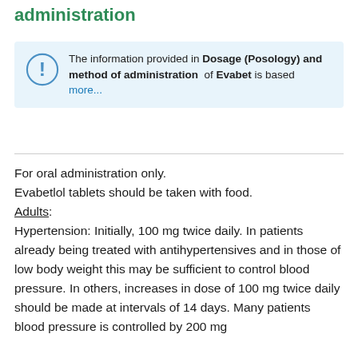administration
The information provided in Dosage (Posology) and method of administration of Evabet is based more...
For oral administration only.
Evabetlol tablets should be taken with food.
Adults:
Hypertension: Initially, 100 mg twice daily. In patients already being treated with antihypertensives and in those of low body weight this may be sufficient to control blood pressure. In others, increases in dose of 100 mg twice daily should be made at intervals of 14 days. Many patients blood pressure is controlled by 200 mg